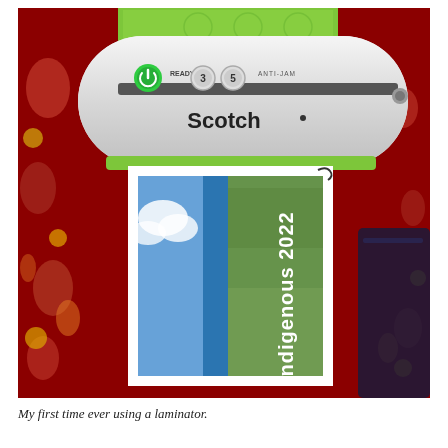[Figure (photo): A white Scotch brand laminator sitting on a red patterned fabric background. A green box is visible behind the machine. A printed page showing 'Indigenous 2022' text over a landscape photo (blue sky, clouds, green fields with a blue river/lake) is being fed through the laminator's green-edged slot.]
My first time ever using a laminator.